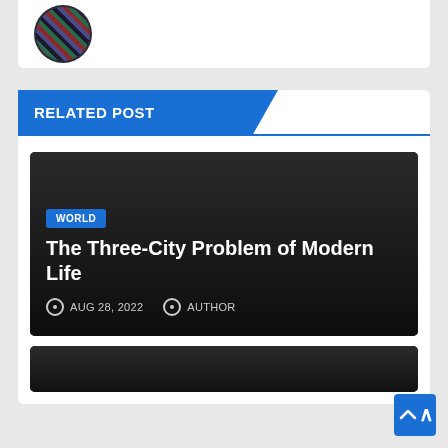[Figure (photo): Circular avatar image with dark multicolored yarn/textile pattern]
RELATED POST
[Figure (photo): Dark card background image for article thumbnail]
WORLD
The Three-City Problem of Modern Life
AUG 28, 2022   AUTHOR
[Figure (photo): Second dark card thumbnail, partially visible]